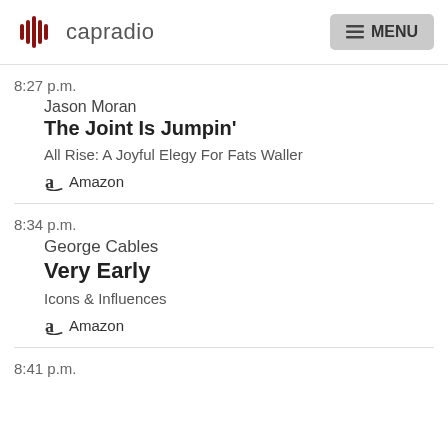capradio  MENU
8:27 p.m.
Jason Moran
The Joint Is Jumpin'
All Rise: A Joyful Elegy For Fats Waller
Amazon
8:34 p.m.
George Cables
Very Early
Icons & Influences
Amazon
8:41 p.m.